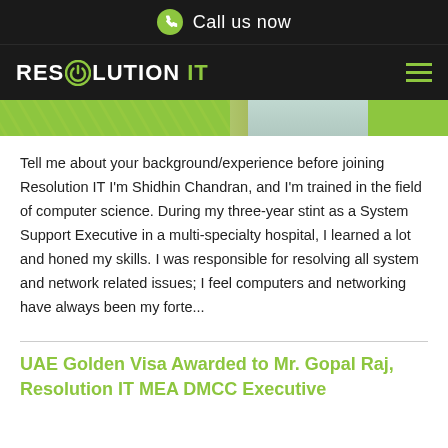Call us now
[Figure (logo): Resolution IT logo with power button icon in the O, followed by 'IT' in green, on dark background. Hamburger menu icon on the right.]
[Figure (photo): Hero image strip showing green diagonal pattern on the left, a person in the center-right area, and green block on the far right.]
Tell me about your background/experience before joining Resolution IT I'm Shidhin Chandran, and I'm trained in the field of computer science. During my three-year stint as a System Support Executive in a multi-specialty hospital, I learned a lot and honed my skills. I was responsible for resolving all system and network related issues; I feel computers and networking have always been my forte...
UAE Golden Visa Awarded to Mr. Gopal Raj, Resolution IT MEA DMCC Executive